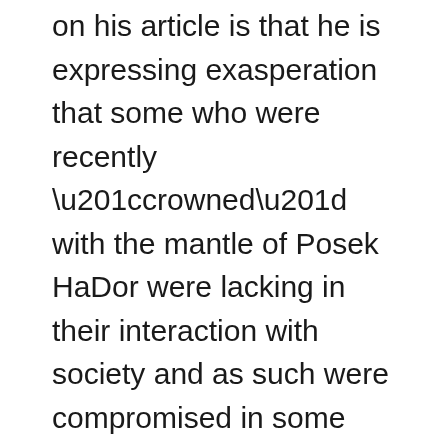on his article is that he is expressing exasperation that some who were recently “crowned” with the mantle of Posek HaDor were lacking in their interaction with society and as such were compromised in some decision-making. In addition, those Poskim responded to questions from Askanim and others on matters that were perhaps not halachic. Although I understand where Rabbi Cardozo is coming from, I don’t agree with the need to somehow define the